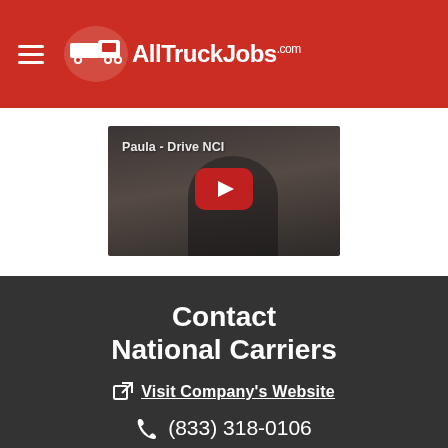AllTruckJobs.com
[Figure (screenshot): YouTube video thumbnail showing a person with arms crossed in front of a truck, with title 'Paula - Drive NCI' and a red YouTube play button overlay.]
Contact National Carriers
Visit Company's Website
(833) 318-0106